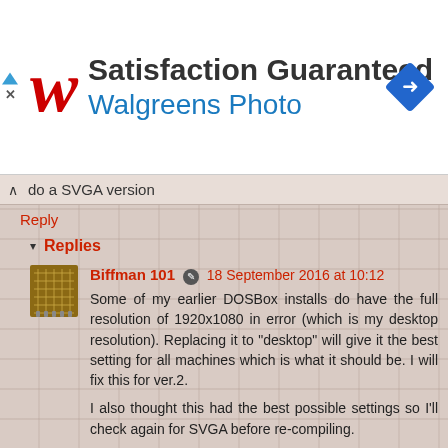[Figure (logo): Walgreens Photo advertisement banner with red italic W logo, 'Satisfaction Guaranteed' title, 'Walgreens Photo' subtitle in blue, and blue diamond navigation icon]
do a SVGA version
Reply
Replies
Biffman 101 ✎ 18 September 2016 at 10:12
Some of my earlier DOSBox installs do have the full resolution of 1920x1080 in error (which is my desktop resolution). Replacing it to "desktop" will give it the best setting for all machines which is what it should be. I will fix this for ver.2.

I also thought this had the best possible settings so I'll check again for SVGA before re-compiling.
Anonymous 28 September 2016 at 02:03